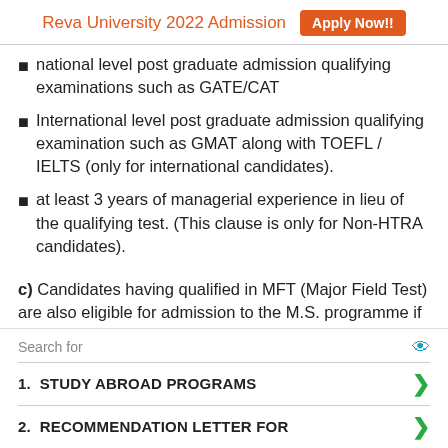Reva University 2022 Admission  Apply Now!!
national level post graduate admission qualifying examinations such as GATE/CAT
International level post graduate admission qualifying examination such as GMAT along with TOEFL / IELTS (only for international candidates).
at least 3 years of managerial experience in lieu of the qualifying test. (This clause is only for Non-HTRA candidates).
c) Candidates having qualified in MFT (Major Field Test) are also eligible for admission to the M.S. programme if
Search for
1.  STUDY ABROAD PROGRAMS
2.  RECOMMENDATION LETTER FOR
Ad | Business Focus